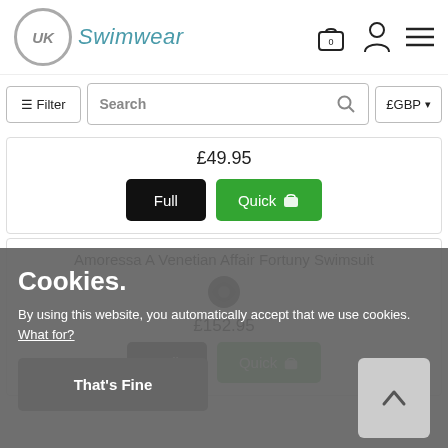[Figure (logo): UK Swimwear logo with circular UK badge and teal italic Swimwear text, plus shopping bag icon with 0 badge, person icon, and hamburger menu icon]
≡ Filter
Search
£GBP ▾
£49.95
Full
Quick 🛍
Cookies.
By using this website, you automatically accept that we use cookies. What for?
Amoressa A Venetian Affair Fortuny Swimsuit
£152.95
Full
Quick